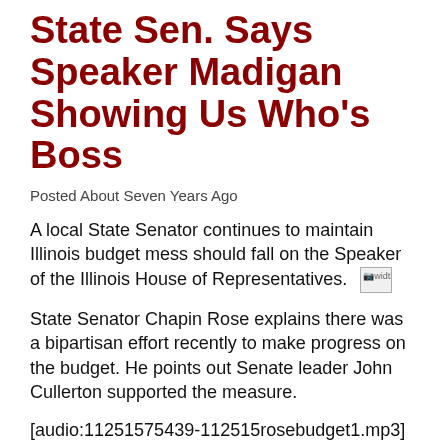State Sen. Says Speaker Madigan Showing Us Who's Boss
Posted About Seven Years Ago
A local State Senator continues to maintain Illinois budget mess should fall on the Speaker of the Illinois House of Representatives.
State Senator Chapin Rose explains there was a bipartisan effort recently to make progress on the budget. He points out Senate leader John Cullerton supported the measure.
[audio:11251575439-112515rosebudget1.mp3] [/audio]
While the agreement in place wasn't major, Sen. Rose points out it dealt with a lot of vital service for Illinois communities.
[audio:11251575442-112515rosebudget2.mp3]